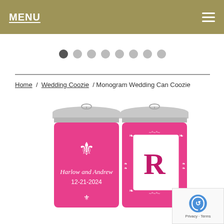MENU
[Figure (screenshot): Dot-based image carousel navigation with 8 dots, first dot active/filled]
[Figure (photo): Two hot pink can coozies with silver aluminum cans. Left coozie shows a fleur-de-lis symbol and text 'Harlow and Andrew 12-21-2024'. Right coozie shows an ornate monogram frame with the letter 'R'.]
Home / Wedding Coozie / Monogram Wedding Can Coozie
[Figure (logo): Google reCAPTCHA badge with Privacy and Terms links]